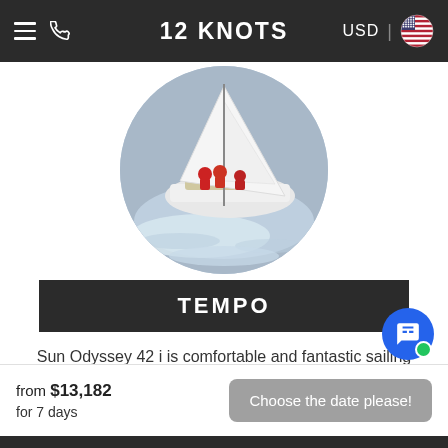12 KNOTS  USD
[Figure (photo): Sailing yacht with crew in red jackets racing on open water, viewed from above/side, circular crop]
TEMPO
Sun Odyssey 42 i is comfortable and fantastic sailing yacht available for rent in Turkey. Equipped with 3 cabins and 6 berths this yacht can accommodate up to
from $13,182 for 7 days
Choose the date please!